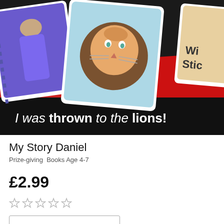[Figure (photo): Book cover image showing illustrated cards with a lion, a figure in purple robes, and another character on a black background with the text 'I was thrown to the lions!']
My Story Daniel
Prize-giving  Books Age 4-7
£2.99
[Figure (other): Five empty star rating icons]
[Figure (other): Add to cart button outline]